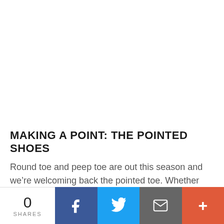[Figure (photo): White blank space at the top of the page (image area, content not visible)]
MAKING A POINT: THE POINTED SHOES
Round toe and peep toe are out this season and we’re welcoming back the pointed toe. Whether you prefer flats or heels, the sexy pointed shoes are what you should be
0 SHARES | Facebook share | Twitter share | Email share | More